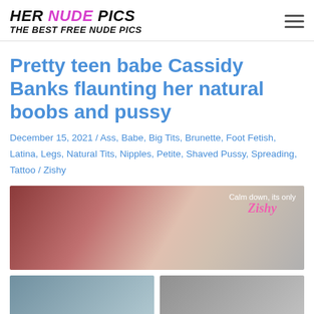HER NUDE PICS — THE BEST FREE NUDE PICS
Pretty teen babe Cassidy Banks flaunting her natural boobs and pussy
December 15, 2021 / Ass, Babe, Big Tits, Brunette, Foot Fetish, Latina, Legs, Natural Tits, Nipples, Petite, Shaved Pussy, Spreading, Tattoo / Zishy
[Figure (photo): Photo of Cassidy Banks on a red couch with Zishy overlay text reading 'Calm down, its only Zishy']
[Figure (photo): Thumbnail photo left]
[Figure (photo): Thumbnail photo right]